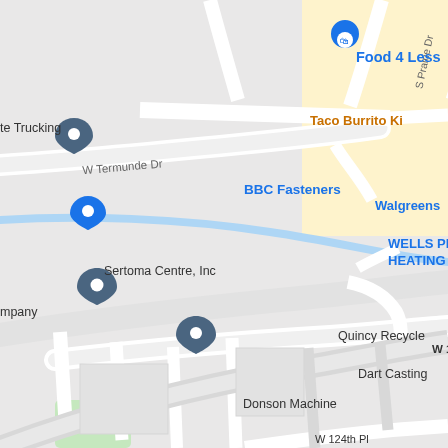[Figure (map): Google Maps screenshot showing area around W 123rd St with businesses including Food 4 Less, Taco Burrito Ki, BBC Fasteners, Walgreens, WELLS PLUM HEATING SUP, Sertoma Centre Inc, Quincy Recycle, Dart Casting, Donson Machine, and other local businesses. Street labels include W Termunde Dr, S Prairie Dr, W 123rd St, W 124th Pl.]